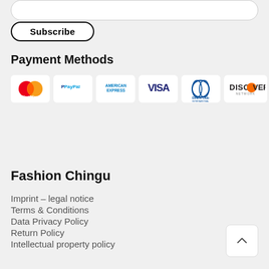[Figure (other): Subscribe button with rounded pill border and bold text]
Payment Methods
[Figure (other): Payment method logos: MasterCard, PayPal, American Express, VISA, Diners Club International, Discover Network]
Fashion Chingu
Imprint - legal notice
Terms & Conditions
Data Privacy Policy
Return Policy
Intellectual property policy